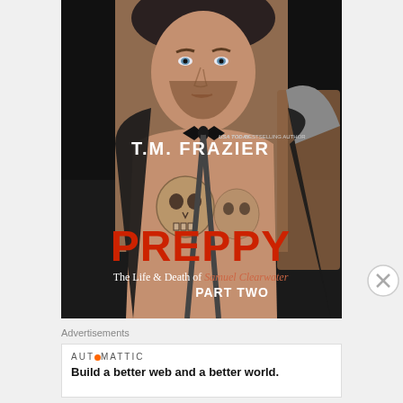[Figure (photo): Book cover for 'Preppy: The Life & Death of Samuel Clearwater, Part Two' by T.M. Frazier (USA Today Bestselling Author). Dark dramatic cover featuring a tattooed shirtless man with a beard and bow tie, with skull tattoos on chest. Large red title text 'PREPPY' and subtitle 'The Life & Death of Samuel Clearwater PART TWO' in white. Author name in white text at top right.]
Advertisements
[Figure (logo): Automattic logo with orange dot in the middle of the text]
Build a better web and a better world.